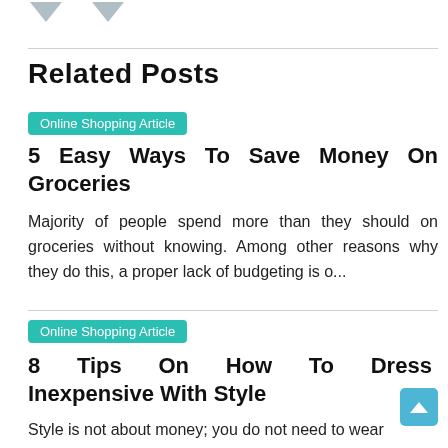Related Posts
Online Shopping Article
5 Easy Ways To Save Money On Groceries
Majority of people spend more than they should on groceries without knowing. Among other reasons why they do this, a proper lack of budgeting is o...
Online Shopping Article
8 Tips On How To Dress Inexpensive With Style
Style is not about money; you do not need to wear